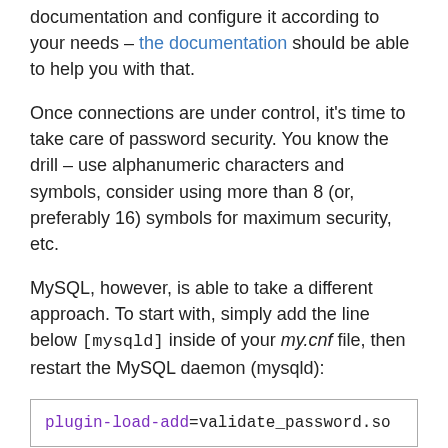After you install the plugin, come back to the documentation and configure it according to your needs – the documentation should be able to help you with that.
Once connections are under control, it's time to take care of password security. You know the drill – use alphanumeric characters and symbols, consider using more than 8 (or, preferably 16) symbols for maximum security, etc.
MySQL, however, is able to take a different approach. To start with, simply add the line below [mysqld] inside of your my.cnf file, then restart the MySQL daemon (mysqld):
plugin-load-add=validate_password.so
This line will activate the password validation